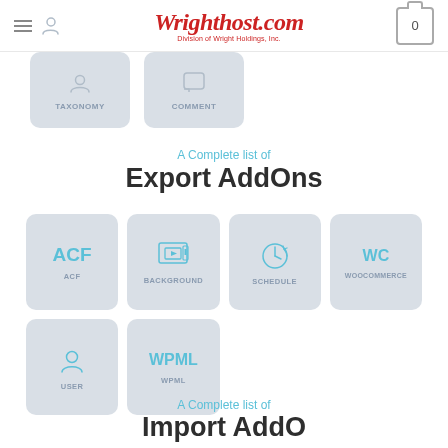Wrighthost.com — Division of Wright Holdings, Inc.
[Figure (screenshot): Partial top row of icon cards showing TAXONOMY and COMMENT icons]
A Complete list of Export AddOns
[Figure (infographic): Grid of Export AddOn cards: ACF, BACKGROUND, SCHEDULE, WOOCOMMERCE (top row); USER, WPML (bottom row)]
A Complete list of